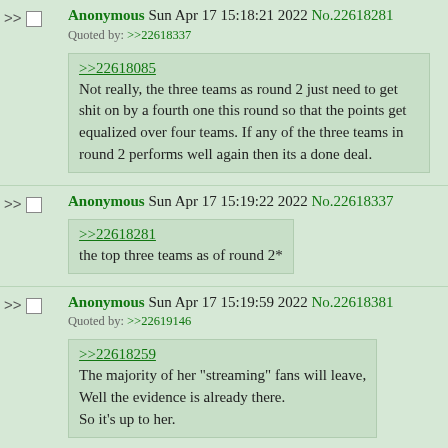Anonymous Sun Apr 17 15:18:21 2022 No.22618281
Quoted by: >>22618337
>>22618085
Not really, the three teams as round 2 just need to get shit on by a fourth one this round so that the points get equalized over four teams. If any of the three teams in round 2 performs well again then its a done deal.
Anonymous Sun Apr 17 15:19:22 2022 No.22618337
>>22618281
the top three teams as of round 2*
Anonymous Sun Apr 17 15:19:59 2022 No.22618381
Quoted by: >>22619146
>>22618259
The majority of her "streaming" fans will leave,
Well the evidence is already there.
So it's up to her.
Anonymous Sun Apr 17 15:21:39 2022 No.22618476